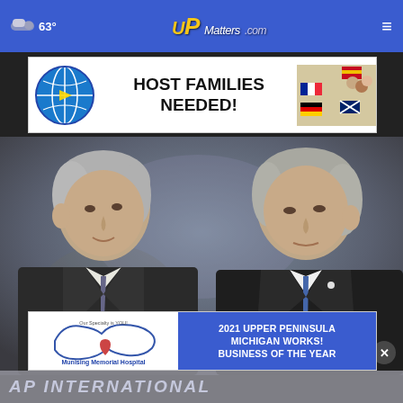63° UPMatters.com ≡
[Figure (photo): Advertisement banner: ICES International Cultural Exchange Services logo with globe, text HOST FAMILIES NEEDED!, flags of various countries and students]
[Figure (photo): Two older men in suits facing each other closely in conversation, blurred background]
[Figure (photo): Advertisement banner: Munising Memorial Hospital logo, text 2021 UPPER PENINSULA MICHIGAN WORKS! BUSINESS OF THE YEAR on blue background]
AP INTERNATIONAL